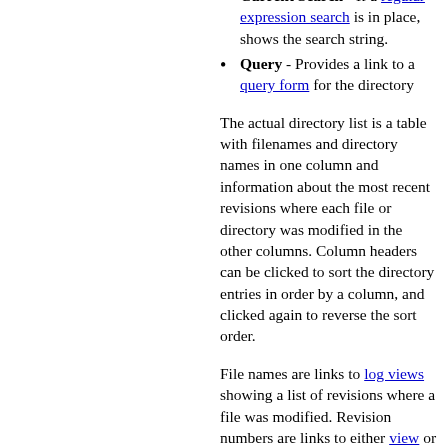tag and contains form fields to set or clear it.
Current Search - If a regular expression search is in place, shows the search string.
Query - Provides a link to a query form for the directory
The actual directory list is a table with filenames and directory names in one column and information about the most recent revisions where each file or directory was modified in the other columns. Column headers can be clicked to sort the directory entries in order by a column, and clicked again to reverse the sort order.
File names are links to log views showing a list of revisions where a file was modified. Revision numbers are links to either view or download a file (depending on its file type). The links are reversed for